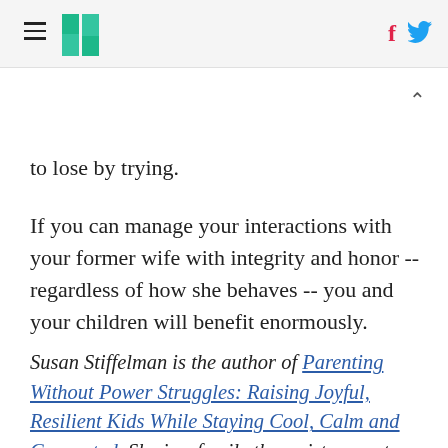HuffPost navigation with hamburger menu, logo, Facebook and Twitter icons
to lose by trying.
If you can manage your interactions with your former wife with integrity and honor -- regardless of how she behaves -- you and your children will benefit enormously.
Susan Stiffelman is the author of Parenting Without Power Struggles: Raising Joyful, Resilient Kids While Staying Cool, Calm and Connected. She is a family therapist, parent coach and internationally recognized speaker on all subjects related to children, teens and parenting.